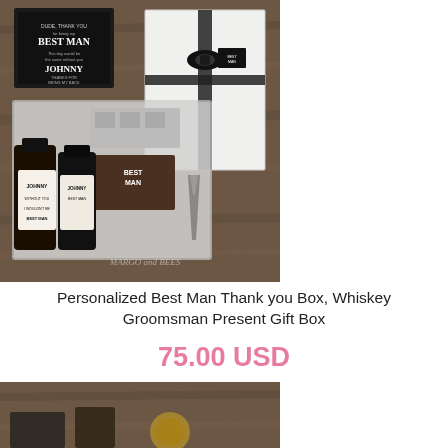[Figure (photo): Overhead view of a personalized Best Man whiskey gift box set on a rustic wooden surface. Includes a white gift box with black ribbon, personalized card reading 'BUDE THANK YOU for being my BEST MAN... JOHNNY', whiskey bottles labeled 'JOHNNY', ice cube tray, and bar tools. Watermark reads 'MARGO and BEES'.]
Personalized Best Man Thank you Box, Whiskey Groomsman Present Gift Box
75.00 USD
[Figure (photo): Partial view of another product on a rustic wooden surface, showing dark objects partially visible at bottom of page.]